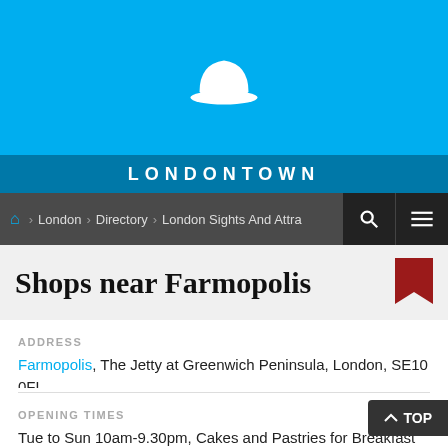[Figure (logo): White bowler hat icon on a sky blue background, representing the LondonTown website logo]
LONDONTOWN
London > Directory > London Sights And Attra...
Shops near Farmopolis
ADDRESS
Farmopolis, The Jetty at Greenwich Peninsula, London, SE10 0FL
OPENING TIMES
Tue to Sun 10am-9.30pm, Cakes and Pastries for Breakfast every day from 10am-12noon | CLOSED Mondays